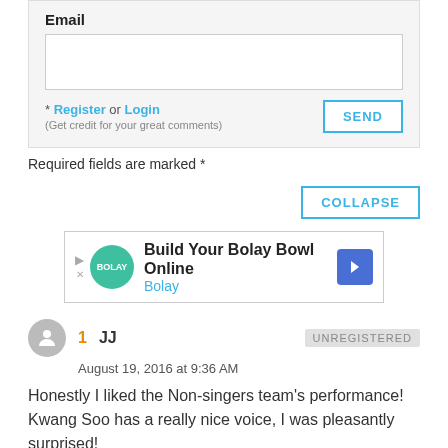Email
* Register or Login
(Get credit for your great comments)
Required fields are marked *
COLLAPSE
[Figure (screenshot): Advertisement banner: Build Your Bolay Bowl Online - Bolay]
1  JJ  UNREGISTERED
August 19, 2016 at 9:36 AM
Honestly I liked the Non-singers team's performance! Kwang Soo has a really nice voice, I was pleasantly surprised!